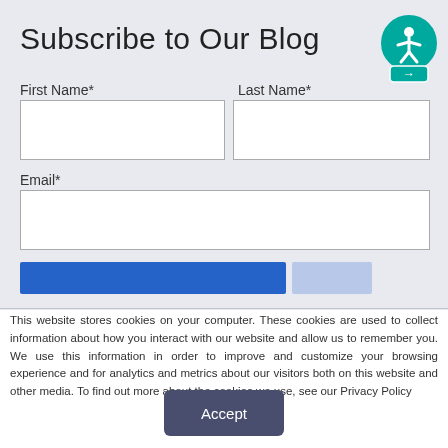Subscribe to Our Blog
First Name*
Last Name*
Email*
This website stores cookies on your computer. These cookies are used to collect information about how you interact with our website and allow us to remember you. We use this information in order to improve and customize your browsing experience and for analytics and metrics about our visitors both on this website and other media. To find out more about the cookies we use, see our Privacy Policy
Accept